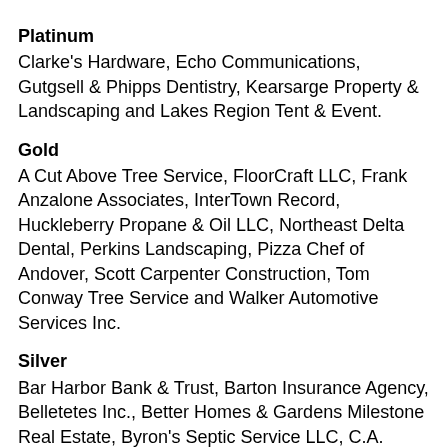Platinum
Clarke's Hardware, Echo Communications, Gutgsell & Phipps Dentistry, Kearsarge Property & Landscaping and Lakes Region Tent & Event.
Gold
A Cut Above Tree Service, FloorCraft LLC, Frank Anzalone Associates, InterTown Record, Huckleberry Propane & Oil LLC, Northeast Delta Dental, Perkins Landscaping, Pizza Chef of Andover, Scott Carpenter Construction, Tom Conway Tree Service and Walker Automotive Services Inc.
Silver
Bar Harbor Bank & Trust, Barton Insurance Agency, Belletetes Inc., Better Homes & Gardens Milestone Real Estate, Byron's Septic Service LLC, C.A. Miller Plumbing & Heating, Chadwick Funeral Service LLC, Cherry Pond Fine Furniture, Colonial Pharmacy, Hubert's of New London, Kearsarge Veterinary Clinic PLLC, Marathon